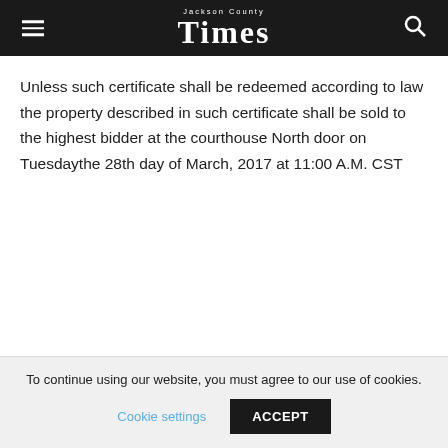Jackson County Times
Unless such certificate shall be redeemed according to law the property described in such certificate shall be sold to the highest bidder at the courthouse North door on Tuesdaythe 28th day of March, 2017 at 11:00 A.M. CST
To continue using our website, you must agree to our use of cookies.
Cookie settings
ACCEPT